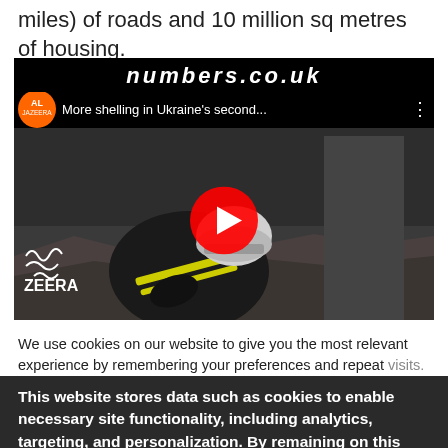miles) of roads and 10 million sq metres of housing.
[Figure (screenshot): Embedded YouTube video thumbnail showing Al Jazeera news video titled 'More shelling in Ukraine's second...' with a worker/rescuer in a yellow-striped jacket and helmet searching rubble. A YouTube play button overlay is visible. The numbers.co.uk banner appears at the top of the video frame.]
We use cookies on our website to give you the most relevant experience by remembering your preferences and repeat visits. By clicking "Accept All", you consent to the use of ALL t... provide a controlled consent.
This website stores data such as cookies to enable necessary site functionality, including analytics, targeting, and personalization. By remaining on this website you indicate your consent Cookie Policy ✕